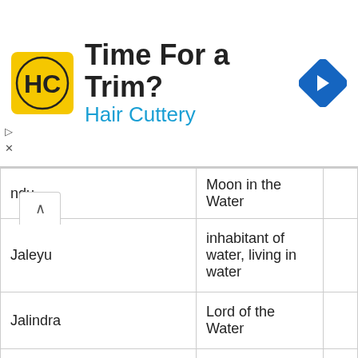[Figure (other): Hair Cuttery advertisement banner with logo, 'Time For a Trim?' headline, 'Hair Cuttery' subtitle in blue, and a blue navigation diamond icon]
| …ndu | Moon in the Water |  |
| Jaleyu | inhabitant of water, living in water |  |
| Jalindra | Lord of the Water |  |
| Jalpesh | King of Water |  |
| Jamadagni | Consuming Fire |  |
| Jamagha | consumer of sins, destroyer of sins |  |
| Jambavat | possessing the jambu fruit, the father of jambavati and a minister of sugriva |  |
| Jambha | tooth, several demons conquered by krishna, indra's thunderbolt |  |